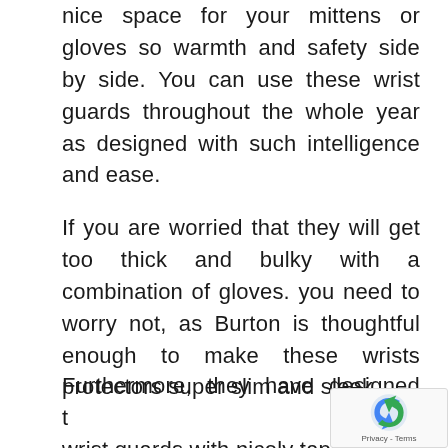nice space for your mittens or gloves so warmth and safety side by side. You can use these wrist guards throughout the whole year as designed with such intelligence and ease.
If you are worried that they will get too thick and bulky with a combination of gloves. you need to worry not, as Burton is thoughtful enough to make these wrists protectors super slim and sleek.
Furthermore, they have designed the wrist guards with nicely tapered and
[Figure (other): reCAPTCHA widget showing Privacy - Terms text]